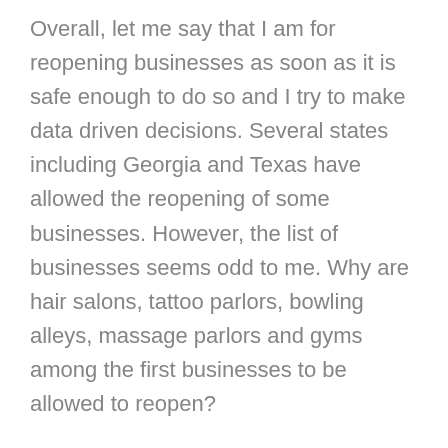Overall, let me say that I am for reopening businesses as soon as it is safe enough to do so and I try to make data driven decisions.  Several states including Georgia and Texas have allowed the reopening of some businesses.  However, the list of businesses seems odd to me.  Why are hair salons, tattoo parlors, bowling alleys, massage parlors and gyms among the first businesses to be allowed to reopen?
It seems peculiar to me that after weeks of hearing we will follow the data, that these businesses are opening with essentially with no specific data and no plan to actually collect the specific data.  I'm for